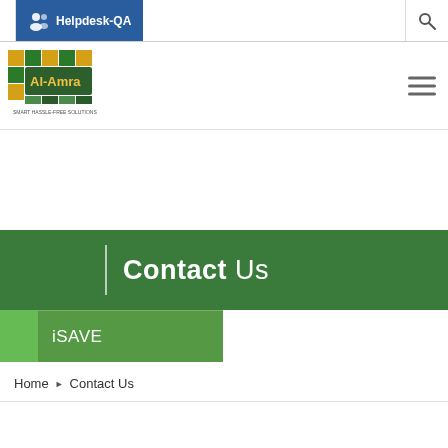Helpdesk-QA
[Figure (logo): Al-Amra logo with Arabic text and colorful grid pattern]
Contact Us
iSAVE
Home > Contact Us